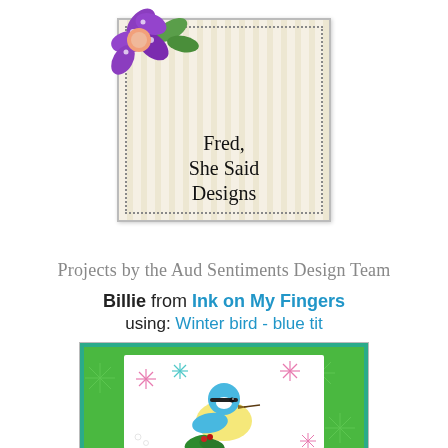[Figure (logo): Fred, She Said Designs logo with purple flower and striped background, dotted border]
Projects by the Aud Sentiments Design Team
Billie from Ink on My Fingers using: Winter bird - blue tit
[Figure (photo): Handmade card with blue tit bird, holly, and snowflakes on green background]